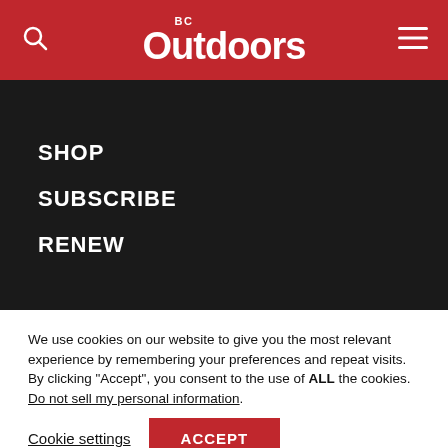BC Outdoors
SHOP
SUBSCRIBE
RENEW
We use cookies on our website to give you the most relevant experience by remembering your preferences and repeat visits. By clicking “Accept”, you consent to the use of ALL the cookies.
Do not sell my personal information.
Cookie settings   ACCEPT